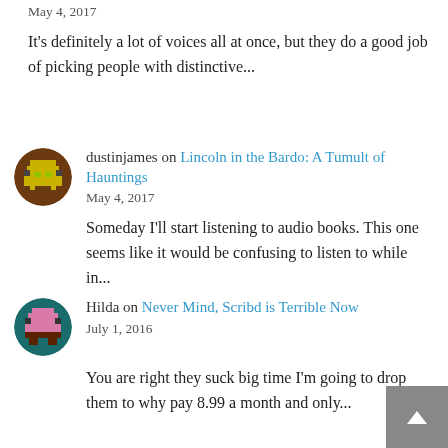May 4, 2017
It's definitely a lot of voices all at once, but they do a good job of picking people with distinctive...
[Figure (illustration): Pixel art avatar icon for user dustinjames — brown circle with yellow/green pixel character]
dustinjames on Lincoln in the Bardo: A Tumult of Hauntings
May 4, 2017
Someday I'll start listening to audio books. This one seems like it would be confusing to listen to while in...
[Figure (illustration): Pixel art avatar icon for user Hilda — teal circle with pink pixel character]
Hilda on Never Mind, Scribd is Terrible Now
July 1, 2016
You are right they suck big time I'm going to drop them to why pay 8.99 a month and only...